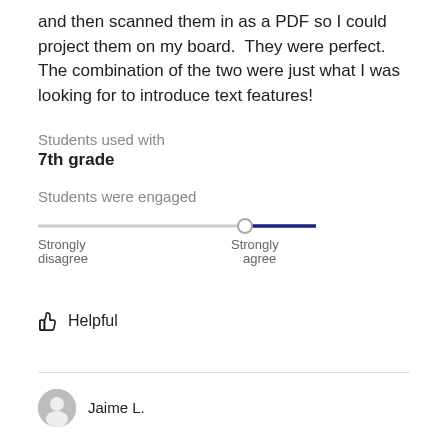and then scanned them in as a PDF so I could project them on my board.  They were perfect.  The combination of the two were just what I was looking for to introduce text features!
Students used with
7th grade
Students were engaged
[Figure (other): A horizontal slider/rating scale for 'Students were engaged', with a light gray track and a dark navy blue active segment near the right end, positioned between 'Strongly disagree' (left) and 'Strongly agree' (right) labels.]
Helpful
Jaime L.